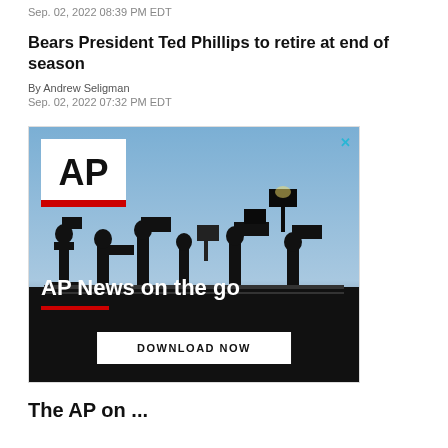Sep. 02, 2022 08:39 PM EDT
Bears President Ted Phillips to retire at end of season
By Andrew Seligman
Sep. 02, 2022 07:32 PM EDT
[Figure (photo): AP News advertisement showing silhouettes of camera operators against a blue sky, with AP logo in top left, text 'AP News on the go', a red underline, and a 'DOWNLOAD NOW' button. A close/X button appears in the top right corner.]
The AP on ...